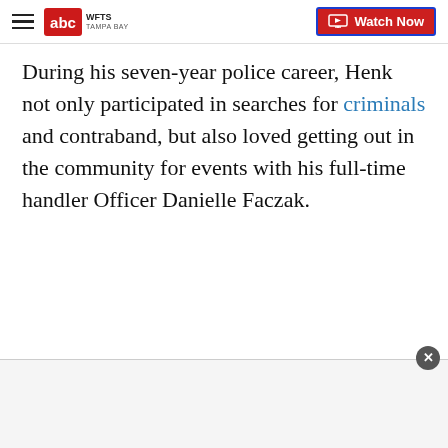WFTS Tampa Bay - ABC News | Watch Now
During his seven-year police career, Henk not only participated in searches for criminals and contraband, but also loved getting out in the community for events with his full-time handler Officer Danielle Faczak.
[Figure (other): Advertisement overlay at the bottom of the page with a close (X) button]